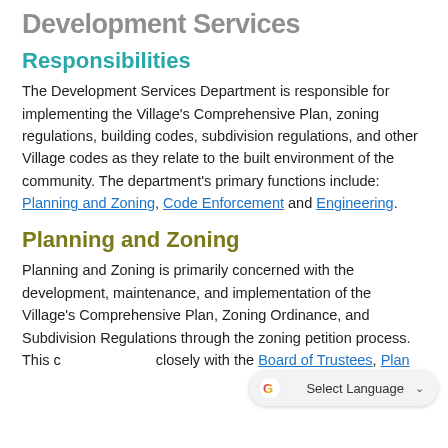Development Services
Responsibilities
The Development Services Department is responsible for implementing the Village's Comprehensive Plan, zoning regulations, building codes, subdivision regulations, and other Village codes as they relate to the built environment of the community. The department's primary functions include: Planning and Zoning, Code Enforcement and Engineering.
Planning and Zoning
Planning and Zoning is primarily concerned with the development, maintenance, and implementation of the Village's Comprehensive Plan, Zoning Ordinance, and Subdivision Regulations through the zoning petition process. This closely with the Board of Trustees, Plan